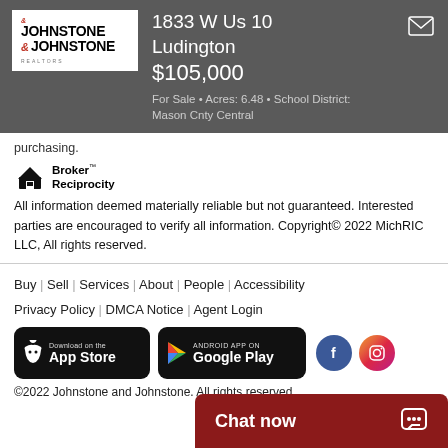1833 W Us 10, Ludington, $105,000, For Sale • Acres: 6.48 • School District: Mason Cnty Central
purchasing.
[Figure (logo): Broker Reciprocity logo with house icon]
All information deemed materially reliable but not guaranteed. Interested parties are encouraged to verify all information. Copyright© 2022 MichRIC LLC, All rights reserved.
Buy | Sell | Services | About | People | Accessibility
Privacy Policy | DMCA Notice | Agent Login
©2022 Johnstone and Johnstone. All rights reserved.
[Figure (screenshot): Download on the App Store badge]
[Figure (screenshot): Android App on Google Play badge]
Chat now